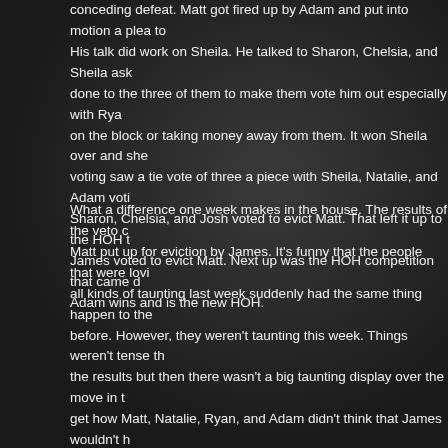conceding defeat. Matt got fired up by Adam and put into motion a plea to His talk did work on Sheila. He talked to Sharon, Chelsia, and Sheila ask done to the three of them to make them vote him out especially with Rya on the block or taking money away from them. It won Sheila over and she voting saw a tie vote of three a piece with Sheila, Natalie, and Adam voti Sharon, Chelsia, and Josh voted to evict Matt. That left it up to the HOH James voted to evict Matt. Next up was the HOH competition that came Adam wins and is the new HOH.
What a difference one week makes in the house. The results of the veto Matt put up for eviction by James. It's funny that the people that were lovi all kinds of taunting last week suddenly had the same thing happen to the before. However, they weren't taunting this week. Things weren't tense th the results but then there wasn't a big taunting display over the move in t get how Matt, Natalie, Ryan, and Adam didn't think that James wouldn't h his eviction. Matt also told Natalie during the HOH competition to take Ja could go back on it. I said this last week but this is how it always plays ou fine and fair game until it happens to the target. Interesting that Julie reve Alex was the vote winner to come back in the house. The reaction was fu mistaken, James told the houseguests last week that it was Jen that was pretty sure I remember him saying that. Last night's show did a segment Daniele. It is interesting to hear what previous houseguests have to say a you like Dick or not, he speaks what he thinks. I've enjoyed listening to hi definitely calls it like he sees it.